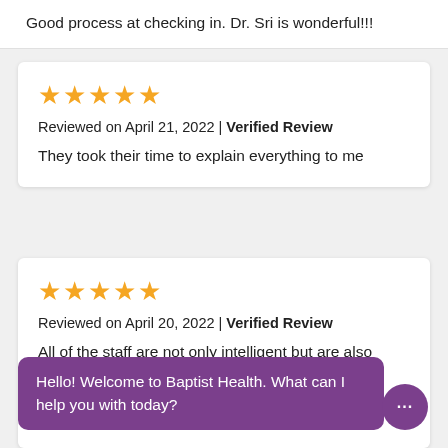Good process at checking in. Dr. Sri is wonderful!!!
[Figure (other): 5 gold stars rating]
Reviewed on April 21, 2022 | Verified Review
They took their time to explain everything to me
[Figure (other): 5 gold stars rating]
Reviewed on April 20, 2022 | Verified Review
All of the staff are not only intelligent but are also
Hello! Welcome to Baptist Health. What can I help you with today?